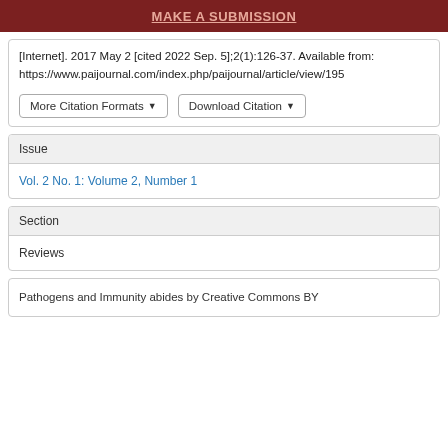MAKE A SUBMISSION
[Internet]. 2017 May 2 [cited 2022 Sep. 5];2(1):126-37. Available from: https://www.paijournal.com/index.php/paijournal/article/view/195
More Citation Formats ▾   Download Citation ▾
Issue
Vol. 2 No. 1: Volume 2, Number 1
Section
Reviews
Pathogens and Immunity abides by Creative Commons BY